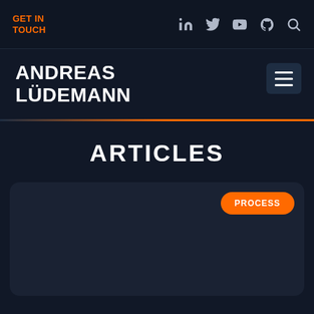GET IN TOUCH
ANDREAS LÜDEMANN
ARTICLES
PROCESS